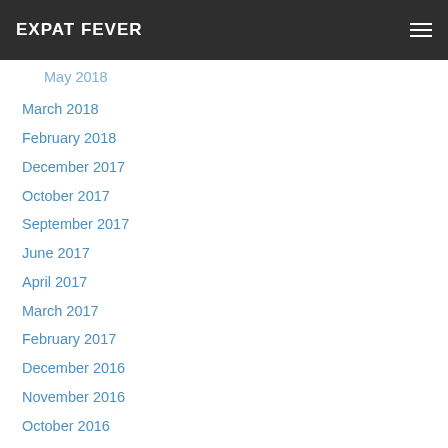EXPAT FEVER
May 2018
March 2018
February 2018
December 2017
October 2017
September 2017
June 2017
April 2017
March 2017
February 2017
December 2016
November 2016
October 2016
September 2016
August 2016
July 2016
June 2016